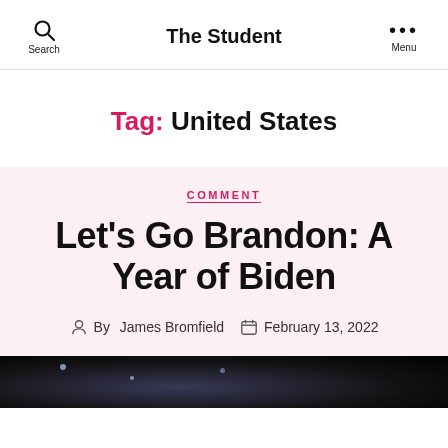The Student
Tag: United States
COMMENT
Let's Go Brandon: A Year of Biden
By James Bromfield  February 13, 2022
[Figure (photo): Dark image at bottom of page, partially visible]